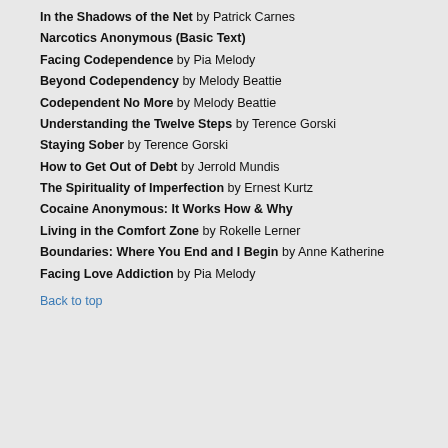In the Shadows of the Net by Patrick Carnes
Narcotics Anonymous (Basic Text)
Facing Codependence by Pia Melody
Beyond Codependency by Melody Beattie
Codependent No More by Melody Beattie
Understanding the Twelve Steps by Terence Gorski
Staying Sober by Terence Gorski
How to Get Out of Debt by Jerrold Mundis
The Spirituality of Imperfection by Ernest Kurtz
Cocaine Anonymous: It Works How & Why
Living in the Comfort Zone by Rokelle Lerner
Boundaries: Where You End and I Begin by Anne Katherine
Facing Love Addiction by Pia Melody
Back to top